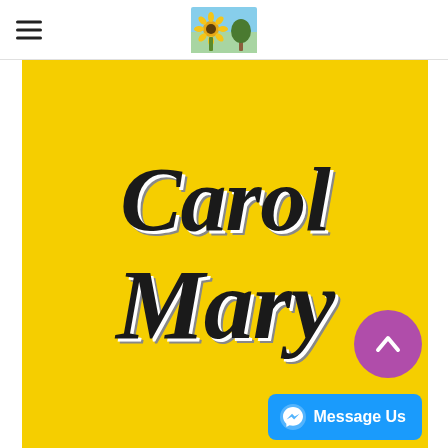Carol Mary — website header with hamburger menu and sunflower logo
[Figure (illustration): Yellow banner with decorative script text reading 'Carol Mary' in large black italic cursive font with white/grey drop shadow, on a golden yellow background. A purple circular scroll-to-top button with a white chevron arrow, and a blue Facebook Messenger 'Message Us' button in the bottom-right corner.]
Message Us